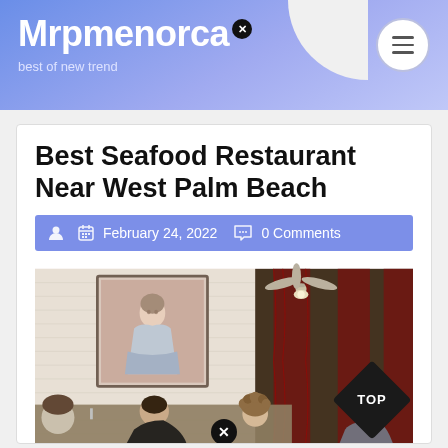Mrpmenorca — best of new trend
Best Seafood Restaurant Near West Palm Beach
February 24, 2022   0 Comments
[Figure (photo): Interior of a seafood restaurant with diners seated at tables, a ceiling fan with lamp, a framed portrait painting on a white brick wall, wooden column dividers, and dark red curtains in the background. A 'TOP' diamond badge appears in the bottom right corner.]